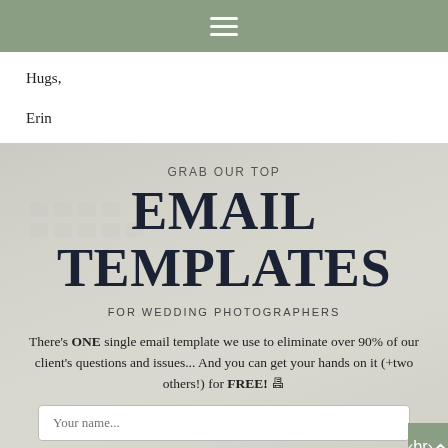Navigation bar with hamburger menu
Hugs,

Erin
[Figure (infographic): Promotional banner with faded keyboard background image showing text: GRAB OUR TOP / EMAIL TEMPLATES / FOR WEDDING PHOTOGRAPHERS / There’s ONE single email template we use to eliminate over 90% of our client’s questions and issues… And you can get your hands on it (+two others!) for FREE! 📧 / Your name input field placeholder]
There’s ONE single email template we use to eliminate over 90% of our client’s questions and issues… And you can get your hands on it (+two others!) for FREE! 📧